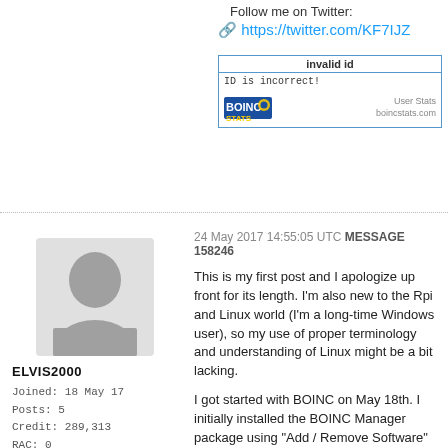Follow me on Twitter:
https://twitter.com/KF7IJZ
[Figure (other): BOINC Stats badge showing 'invalid id' header, 'ID is incorrect!' message, BOINC Stats logo and 'User Stats boincstats.com' text]
24 May 2017 14:55:05 UTC MESSAGE 158246
[Figure (other): Grey silhouette avatar image of a user profile]
ELVIS2000
Joined: 18 May 17
Posts: 5
Credit: 289,313
RAC: 0
This is my first post and I apologize up front for its length. I'm also new to the Rpi and Linux world (I'm a long-time Windows user), so my use of proper terminology and understanding of Linux might be a bit lacking.

I got started with BOINC on May 18th. I initially installed the BOINC Manager package using "Add / Remove Software" on a Raspberry Pi 3 (rpi3-2) running Raspbian Jessie with Pixel (April 2017). I eventually worked my way into setting up an Einstein@Home account via BAM! This Rpi has been running since then